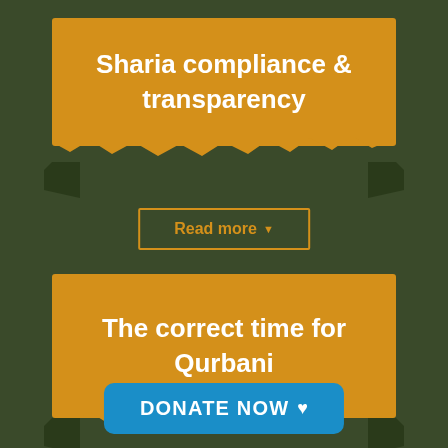[Figure (infographic): Orange banner with torn/jagged bottom edge and decorative corner flaps on dark green background, containing title text 'Sharia compliance & transparency']
Sharia compliance & transparency
Read more ▼
[Figure (infographic): Orange banner with torn/jagged bottom edge and decorative corner flaps on dark green background, containing title text 'The correct time for Qurbani']
The correct time for Qurbani
DONATE NOW ♥